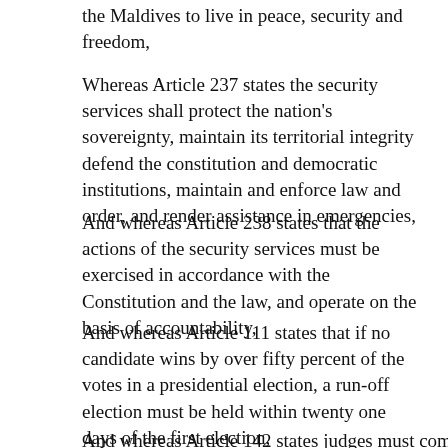the Maldives to live in peace, security and freedom,
Whereas Article 237 states the security services shall protect the nation's sovereignty, maintain its territorial integrity defend the constitution and democratic institutions, maintain and enforce law and order, and render assistance in emergencies,
And whereas Article 238 states that the actions of the security services must be exercised in accordance with the Constitution and the law, and operate on the basis of accountability,
And whereas Article 111 states that if no candidate wins by over fifty percent of the votes in a presidential election, a run-off election must be held within twenty one days of the first election,
And whereas Article 142 states judges must comply